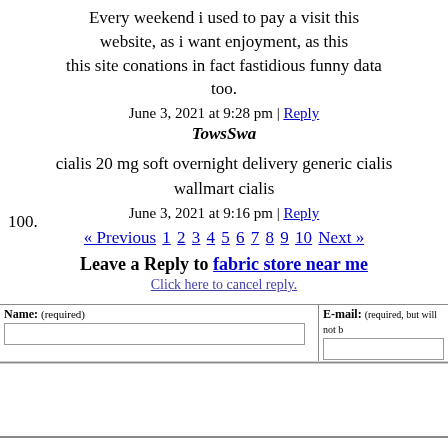Every weekend i used to pay a visit this website, as i want enjoyment, as this this site conations in fact fastidious funny data too.
June 3, 2021 at 9:28 pm | Reply
100. TowsSwa
cialis 20 mg soft overnight delivery generic cialis wallmart cialis
June 3, 2021 at 9:16 pm | Reply
« Previous 1 2 3 4 5 6 7 8 9 10 Next »
Leave a Reply to fabric store near me
Click here to cancel reply.
| Name: (required) | E-mail: (required, but will not be shown) |
| --- | --- |
|  |  |